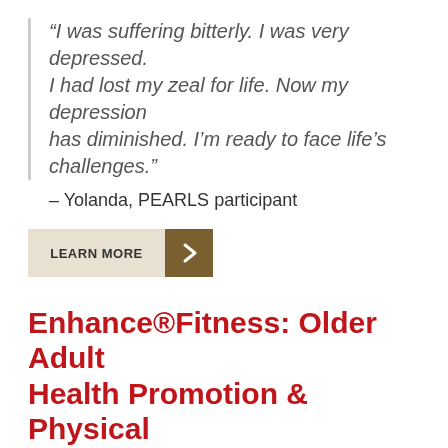“I was suffering bitterly. I was very depressed. I had lost my zeal for life. Now my depression has diminished. I’m ready to face life’s challenges.”
– Yolanda, PEARLS participant
[Figure (other): LEARN MORE button with arrow chevron]
Enhance®Fitness: Older Adult Health Promotion & Physical Activity
Enhance®Fitness is a community-based exercise